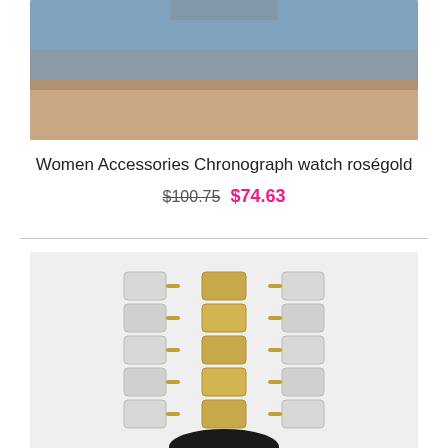[Figure (photo): Top portion of a product photo showing a woman wearing a rose gold chronograph watch, cropped to show wrist and lower arm against a blue background]
Women Accessories Chronograph watch roségold
$100.75  $74.63
[Figure (photo): Close-up product photo of a two-tone (silver and gold) watch bracelet/band with the watch face partially visible at the bottom, light gray background]